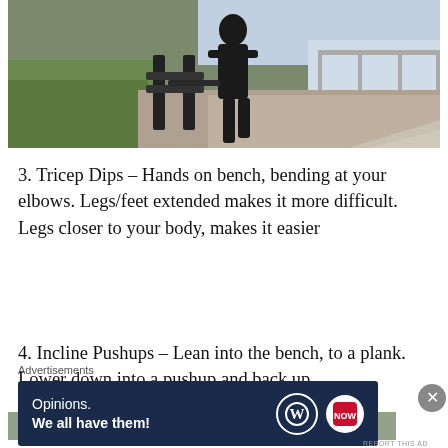[Figure (photo): A person performing an exercise using a park bench outdoors, with grass on the left and pavement/waterfront on the right.]
3. Tricep Dips – Hands on bench, bending at your elbows. Legs/feet extended makes it more difficult. Legs closer to your body, makes it easier
4. Incline Pushups – Lean into the bench, to a plank. Lower down into a pushup and back up
[Figure (photo): Partial view of a person performing incline pushups on a park bench.]
Advertisements
[Figure (screenshot): Advertisement banner: 'Opinions. We all have them!' with WordPress and another logo on a dark navy background.]